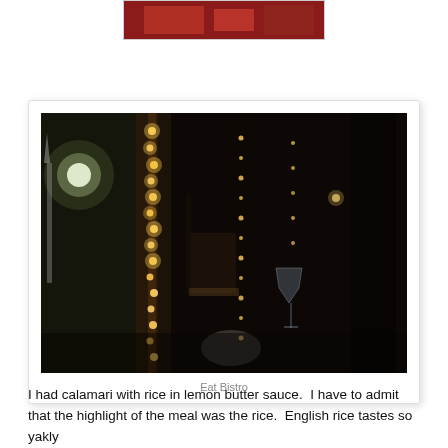[Figure (photo): Partially visible small photo at top of page, appears to show food or decorative items, cropped]
[Figure (photo): Polaroid-style framed photograph of Eat Bistro restaurant interior at night, showing columns wrapped with string lights, tables with white tablecloths, a wine glass in foreground, warm ambient lighting, dark atmosphere]
Eat Bistro
I had calamari with rice in lemon butter sauce.  I have to admit that the highlight of the meal was the rice.  English rice tastes so yakly